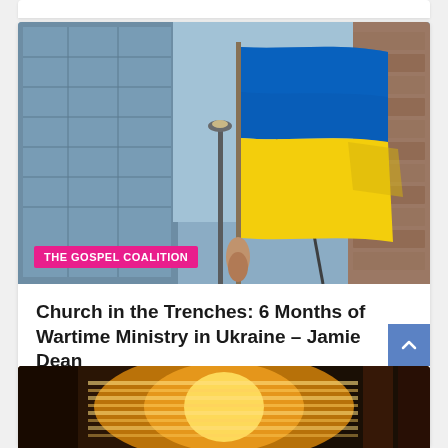[Figure (photo): Photo of a Ukrainian flag (blue and yellow) being held up against a backdrop of city buildings and bare tree branches, with a blurred urban background.]
THE GOSPEL COALITION
Church in the Trenches: 6 Months of Wartime Ministry in Ukraine – Jamie Dean
23 hours ago
[Figure (photo): Partial image at the bottom showing warm orange/amber light, likely interior scene with light beams and curtains or columns.]